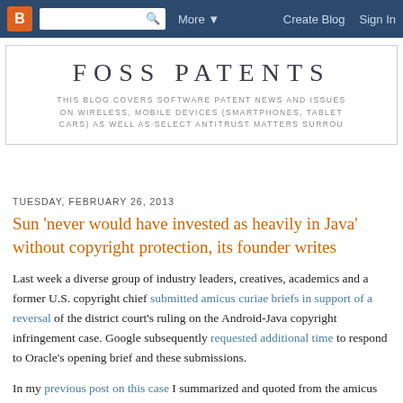B  [search]  More▼  Create Blog  Sign In
FOSS PATENTS
THIS BLOG COVERS SOFTWARE PATENT NEWS AND ISSUES ON WIRELESS, MOBILE DEVICES (SMARTPHONES, TABLET CARS) AS WELL AS SELECT ANTITRUST MATTERS SURROU
TUESDAY, FEBRUARY 26, 2013
Sun 'never would have invested as heavily in Java' without copyright protection, its founder writes
Last week a diverse group of industry leaders, creatives, academics and a former U.S. copyright chief submitted amicus curiae briefs in support of a reversal of the district court's ruling on the Android-Java copyright infringement case. Google subsequently requested additional time to respond to Oracle's opening brief and these submissions.
In my previous post on this case I summarized and quoted from the amicus curiae briefs of former Register of Copyrights of the United States Ralph Oman and three computer science and engineering professors. I would now